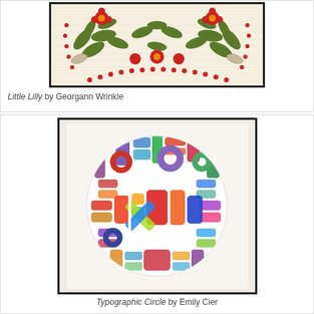[Figure (photo): Photo of a quilt named 'Little Lilly' showing a symmetrical floral appliqué design with red flowers, green leaves, and red berry dots on a cream/white background with quilting texture.]
Little Lilly by Georgann Wrinkle
[Figure (photo): Photo of a quilt named 'Typographic Circle' showing a circular arrangement of colorful letter/typography shapes made from multicolored fabric patches on a white/cream background.]
Typographic Circle by Emily Cier